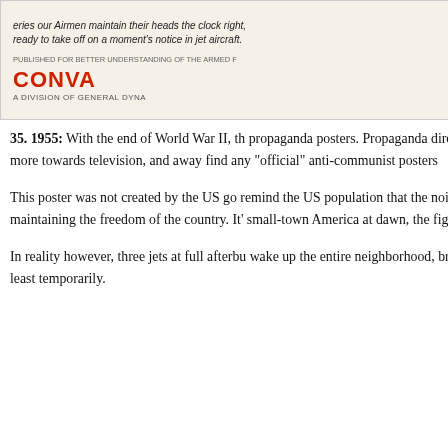[Figure (photo): Top portion of a historical propaganda poster showing text about airmen and jet aircraft, with 'CONVA' visible in red lettering at the bottom right, published for better understanding of the armed forces.]
35. 1955: With the end of World War II, th... propaganda posters. Propaganda directe... shifted more towards television, and away... find any "official" anti-communist posters...
This poster was not created by the US go... remind the US population that the noise o... maintaining the freedom of the country. It'... small-town America at dawn, the fighters...
In reality however, three jets at full afterbu... wake up the entire neighborhood, break a... man, at least temporarily.
[Figure (photo): Bottom portion showing a red-themed poster with a MARC Marshals sheriff star badge logo and text reading 'REPORT ANY UNUSUAL ACTIVITIES OR PACKAGES TO THE']